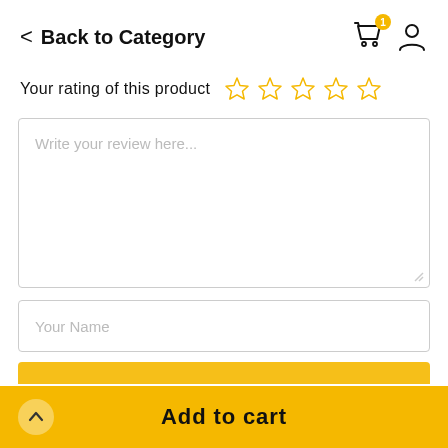Back to Category
Your rating of this product ☆ ☆ ☆ ☆ ☆
Write your review here...
Your Name
Add to cart